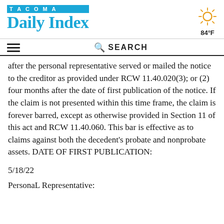TACOMA Daily Index
[Figure (illustration): Sun weather icon with rays, showing 84°F temperature]
after the personal representative served or mailed the notice to the creditor as provided under RCW 11.40.020(3); or (2) four months after the date of first publication of the notice. If the claim is not presented within this time frame, the claim is forever barred, except as otherwise provided in Section 11 of this act and RCW 11.40.060. This bar is effective as to claims against both the decedent's probate and nonprobate assets. DATE OF FIRST PUBLICATION:
5/18/22
PersonaL Representative: